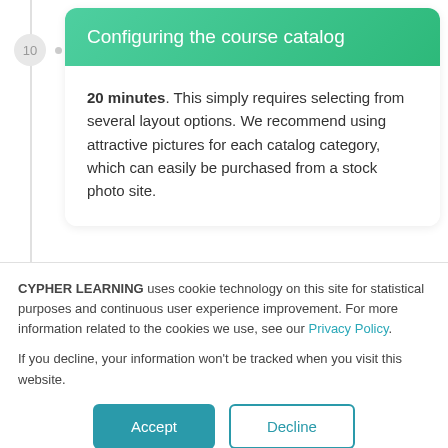Configuring the course catalog
20 minutes. This simply requires selecting from several layout options. We recommend using attractive pictures for each catalog category, which can easily be purchased from a stock photo site.
CYPHER LEARNING uses cookie technology on this site for statistical purposes and continuous user experience improvement. For more information related to the cookies we use, see our Privacy Policy.
If you decline, your information won't be tracked when you visit this website.